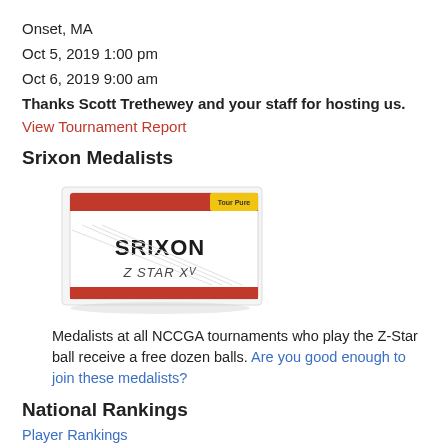Onset, MA
Oct 5, 2019 1:00 pm
Oct 6, 2019 9:00 am
Thanks Scott Trethewey and your staff for hosting us.
View Tournament Report
Srixon Medalists
[Figure (photo): Srixon Z-Star XV golf ball box, white with red and yellow accents]
Medalists at all NCCGA tournaments who play the Z-Star ball receive a free dozen balls. Are you good enough to join these medalists?
National Rankings
Player Rankings
Team Rankings